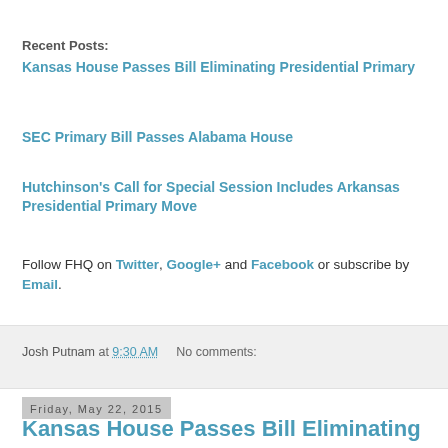Recent Posts:
Kansas House Passes Bill Eliminating Presidential Primary
SEC Primary Bill Passes Alabama House
Hutchinson's Call for Special Session Includes Arkansas Presidential Primary Move
Follow FHQ on Twitter, Google+ and Facebook or subscribe by Email.
Josh Putnam at 9:30 AM   No comments:
Friday, May 22, 2015
Kansas House Passes Bill Eliminating Presidential Primary